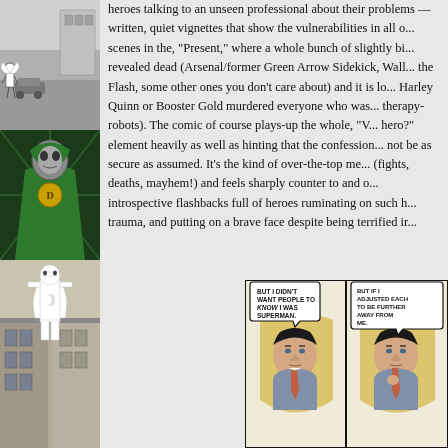[Figure (illustration): Left column with three stacked comic book illustrations: top shows a black-and-white street scene with a figure, middle shows a green-cloaked villain (Doctor Doom style), bottom shows a white-costumed figure (Moon Knight style) standing on a building ledge]
heroes talking to an unseen professional about their problems — written, quiet vignettes that show the vulnerabilities in all o... scenes in the, "Present," where a whole bunch of slightly bi... revealed dead (Arsenal/former Green Arrow Sidekick, Wall... the Flash, some other ones you don't care about) and it is lo... Harley Quinn or Booster Gold murdered everyone who was... therapy-robots). The comic of course plays-up the whole, "V... hero?" element heavily as well as hinting that the confession... not be as secure as assumed. It's the kind of over-the-top me... (fights, deaths, mayhem!) and feels sharply counter to and o... introspective flashbacks full of heroes ruminating on such h... trauma, and putting on a brave face despite being terrified ir...
[Figure (illustration): Comic book panels showing Superman (Clark Kent) in a suit speaking dialogue: 'BUT I DIDN'T WANT PEOPLE TO KNOW I WAS SUPERMAN.' / 'SO I HAD TO MAKE SUPERMAN DIFFERENT FROM CLARK. I ADJUSTED... THEM.' / 'BUT IF I ADJUSTED EACH TO BE FURTHER AWAY FROM ME.']